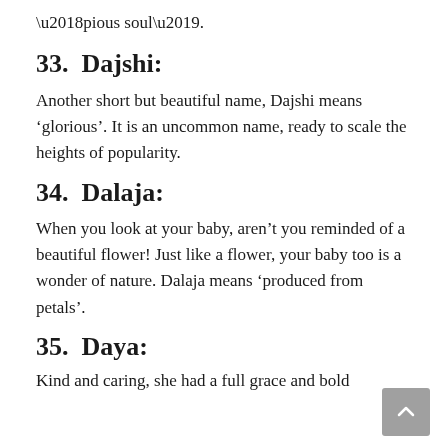‘pious soul’.
33.  Dajshi:
Another short but beautiful name, Dajshi means ‘glorious’. It is an uncommon name, ready to scale the heights of popularity.
34.  Dalaja:
When you look at your baby, aren’t you reminded of a beautiful flower! Just like a flower, your baby too is a wonder of nature. Dalaja means ‘produced from petals’.
35.  Daya:
Kind and caring, she had a full grace and bold...